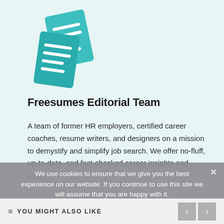[Figure (logo): Freesumes logo - a teal/green stylized letter F made of document shapes]
Freesumes Editorial Team
A team of former HR employers, certified career coaches, resume writers, and designers on a mission to demystify and simplify job search. We offer no-fluff, up-to-date, and fact-checked career insights and... more
We use cookies to ensure that we give you the best experience on our website. If you continue to use this site we will assume that you are happy with it.
YOU MIGHT ALSO LIKE